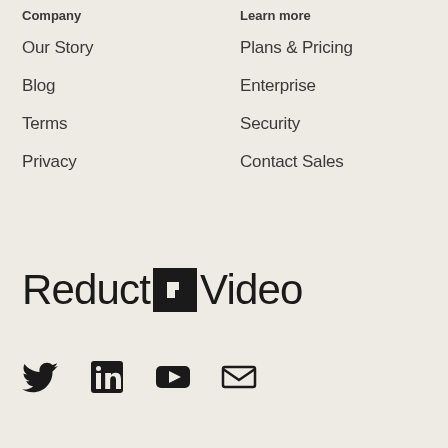Company
Our Story
Blog
Terms
Privacy
Learn more
Plans & Pricing
Enterprise
Security
Contact Sales
[Figure (logo): Reduct Video logo with stylized R icon in black square]
[Figure (infographic): Social media icons: Twitter bird, LinkedIn, YouTube play button, envelope/email]